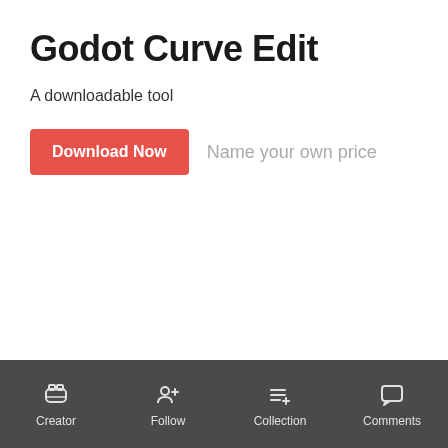Godot Curve Edit
A downloadable tool
Download Now  Name your own price
Creator  Follow  Collection  Comments